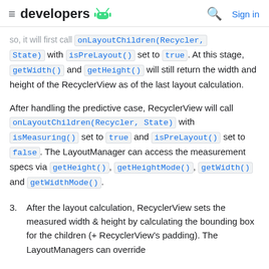≡ developers [android logo] 🔍 Sign in
so, it will first call onLayoutChildren(Recycler, State) with isPreLayout() set to true. At this stage, getWidth() and getHeight() will still return the width and height of the RecyclerView as of the last layout calculation.
After handling the predictive case, RecyclerView will call onLayoutChildren(Recycler, State) with isMeasuring() set to true and isPreLayout() set to false. The LayoutManager can access the measurement specs via getHeight(), getHeightMode(), getWidth() and getWidthMode().
3. After the layout calculation, RecyclerView sets the measured width & height by calculating the bounding box for the children (+ RecyclerView's padding). The LayoutManagers can override